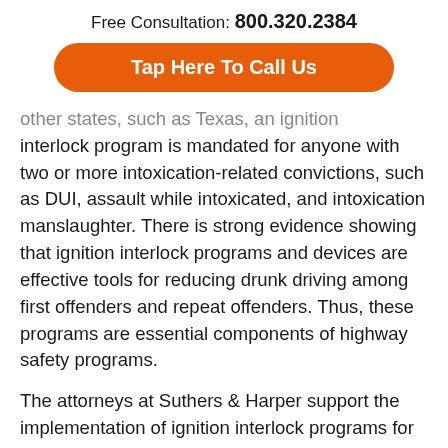Free Consultation: 800.320.2384
[Figure (other): Orange rounded button with text 'Tap Here To Call Us']
other states, such as Texas, an ignition interlock program is mandated for anyone with two or more intoxication-related convictions, such as DUI, assault while intoxicated, and intoxication manslaughter. There is strong evidence showing that ignition interlock programs and devices are effective tools for reducing drunk driving among first offenders and repeat offenders. Thus, these programs are essential components of highway safety programs.
The attorneys at Suthers & Harper support the implementation of ignition interlock programs for first offenders throughout the United